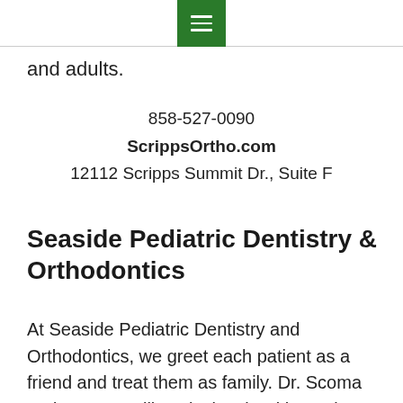☰
and adults.
858-527-0090
ScrippsOrtho.com
12112 Scripps Summit Dr., Suite F
Seaside Pediatric Dentistry & Orthodontics
At Seaside Pediatric Dentistry and Orthodontics, we greet each patient as a friend and treat them as family. Dr. Scoma and Dr. Lam will work closely with you in designing your treatment plan, or that of your child, always attentive to